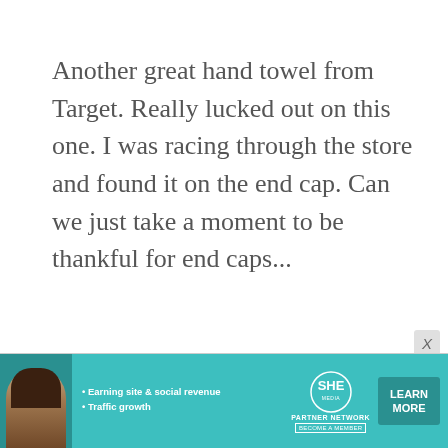Another great hand towel from Target. Really lucked out on this one. I was racing through the store and found it on the end cap. Can we just take a moment to be thankful for end caps...
[Figure (infographic): Advertisement banner for SHE Media Partner Network featuring a woman's photo, bullet points about earning site & social revenue and traffic growth, SHE logo, and a teal Learn More button]